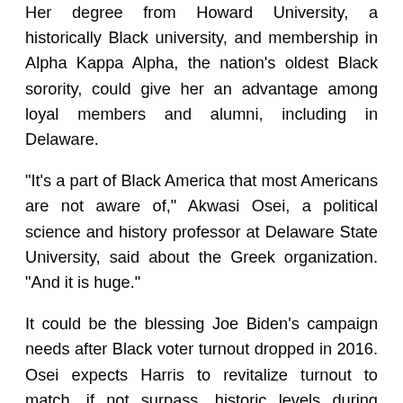Her degree from Howard University, a historically Black university, and membership in Alpha Kappa Alpha, the nation's oldest Black sorority, could give her an advantage among loyal members and alumni, including in Delaware.
“It’s a part of Black America that most Americans are not aware of,” Akwasi Osei, a political science and history professor at Delaware State University, said about the Greek organization. “And it is huge.”
It could be the blessing Joe Biden’s campaign needs after Black voter turnout dropped in 2016. Osei expects Harris to revitalize turnout to match, if not surpass, historic levels during Obama’s presidential bids.